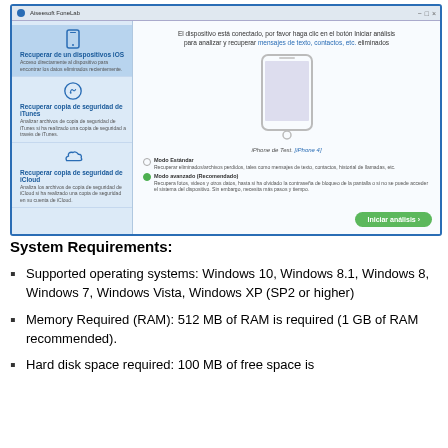[Figure (screenshot): Screenshot of Aiseesoft FoneLab application in Spanish showing iOS data recovery interface with left panel menu items (Recuperar de un dispositivos iOS, Recuperar copia de seguridad de iTunes, Recuperar copia de seguridad de iCloud) and right panel showing a connected iPhone with standard/advanced mode options and Iniciar análisis button.]
System Requirements:
Supported operating systems: Windows 10, Windows 8.1, Windows 8, Windows 7, Windows Vista, Windows XP (SP2 or higher)
Memory Required (RAM): 512 MB of RAM is required (1 GB of RAM recommended).
Hard disk space required: 100 MB of free space is